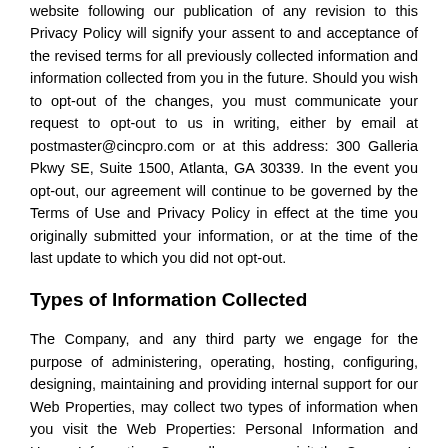website following our publication of any revision to this Privacy Policy will signify your assent to and acceptance of the revised terms for all previously collected information and information collected from you in the future. Should you wish to opt-out of the changes, you must communicate your request to opt-out to us in writing, either by email at postmaster@cincpro.com or at this address: 300 Galleria Pkwy SE, Suite 1500, Atlanta, GA 30339. In the event you opt-out, our agreement will continue to be governed by the Terms of Use and Privacy Policy in effect at the time you originally submitted your information, or at the time of the last update to which you did not opt-out.
Types of Information Collected
The Company, and any third party we engage for the purpose of administering, operating, hosting, configuring, designing, maintaining and providing internal support for our Web Properties, may collect two types of information when you visit the Web Properties: Personal Information and Usage Information. Generally, you can visit the Company's websites without entering any Personal Information. In certain cases, we may ask you for personal information to provide a service or carry out a